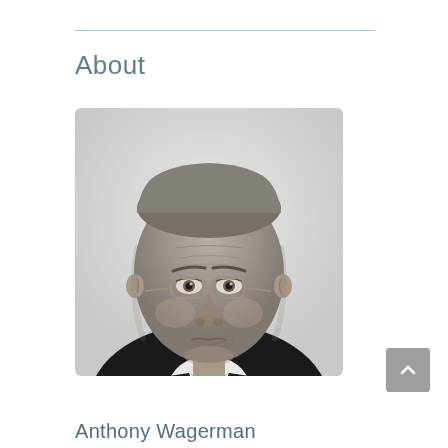About
[Figure (photo): Black and white professional headshot of Anthony Wagerman, a middle-aged man with short hair, glasses, slight smile, wearing a suit with white shirt.]
Anthony Wagerman